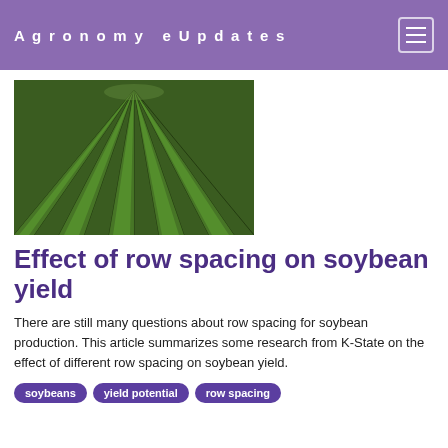Agronomy eUpdates
[Figure (photo): Aerial view of green soybean rows converging to a vanishing point, showing uniform row spacing in a field]
Effect of row spacing on soybean yield
There are still many questions about row spacing for soybean production. This article summarizes some research from K-State on the effect of different row spacing on soybean yield.
soybeans
yield potential
row spacing